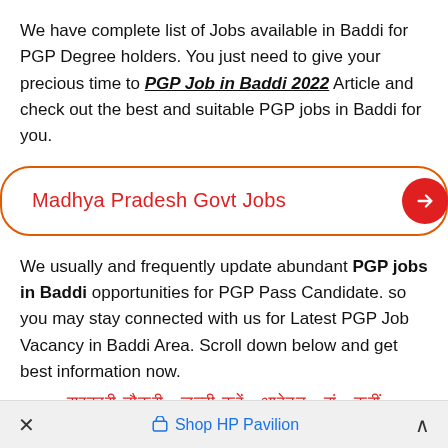We have complete list of Jobs available in Baddi for PGP Degree holders. You just need to give your precious time to PGP Job in Baddi 2022 Article and check out the best and suitable PGP jobs in Baddi for you.
[Figure (other): Orange-bordered rounded button with red text 'Madhya Pradesh Govt Jobs' and a red circle with white right arrow]
We usually and frequently update abundant PGP jobs in Baddi opportunities for PGP Pass Candidate. so you may stay connected with us for Latest PGP Job Vacancy in Baddi Area. Scroll down below and get best information now.
Hindi text (red): सरकारी नौकरी जल्दी करें आवेदन
× Shop HP Pavilion ∧